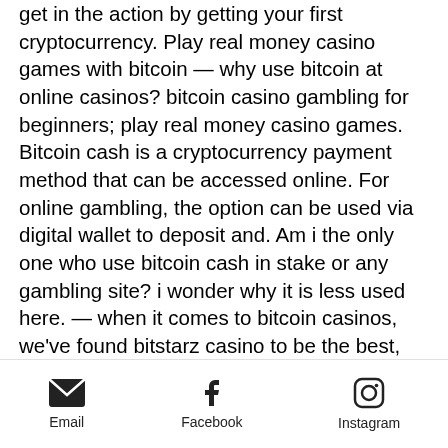get in the action by getting your first cryptocurrency. Play real money casino games with bitcoin — why use bitcoin at online casinos? bitcoin casino gambling for beginners; play real money casino games. Bitcoin cash is a cryptocurrency payment method that can be accessed online. For online gambling, the option can be used via digital wallet to deposit and. Am i the only one who use bitcoin cash in stake or any gambling site? i wonder why it is less used here. — when it comes to bitcoin casinos, we've found bitstarz casino to be the best, and we're going to tell you why. The casino site not only ticks
Wonderland Greyhound Park is a closed greyhound racing track located in Revere, Massachusetts formerly owned by the Westwood Group, best bet sites ghana. It
Email   Facebook   Instagram